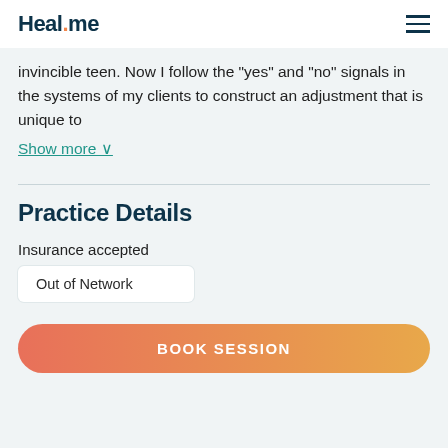Heal.me
invincible teen. Now I follow the "yes" and "no" signals in the systems of my clients to construct an adjustment that is unique to
Show more ∨
Practice Details
Insurance accepted
Out of Network
BOOK SESSION